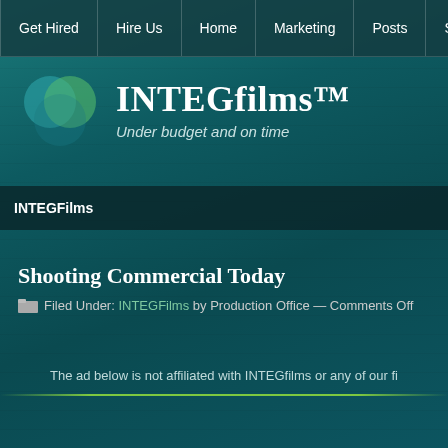Get Hired | Hire Us | Home | Marketing | Posts | Sample Vide
INTEGfilms™
Under budget and on time
INTEGFilms
Shooting Commercial Today
Filed Under: INTEGFilms by Production Office — Comments Off
The ad below is not affiliated with INTEGfilms or any of our fi